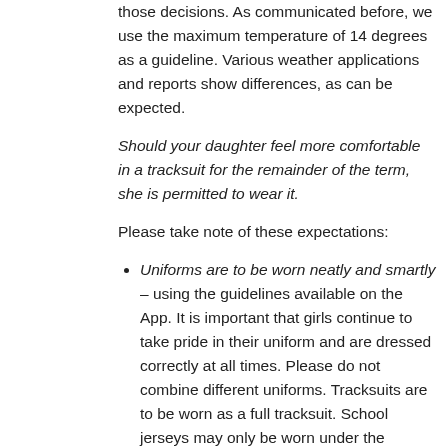those decisions. As communicated before, we use the maximum temperature of 14 degrees as a guideline. Various weather applications and reports show differences, as can be expected.
Should your daughter feel more comfortable in a tracksuit for the remainder of the term, she is permitted to wear it.
Please take note of these expectations:
Uniforms are to be worn neatly and smartly – using the guidelines available on the App. It is important that girls continue to take pride in their uniform and are dressed correctly at all times. Please do not combine different uniforms. Tracksuits are to be worn as a full tracksuit. School jerseys may only be worn under the tracksuit top. Blazers are to be worn with the full formal winter uniform.
No house t–shirts are to be worn unless the girls